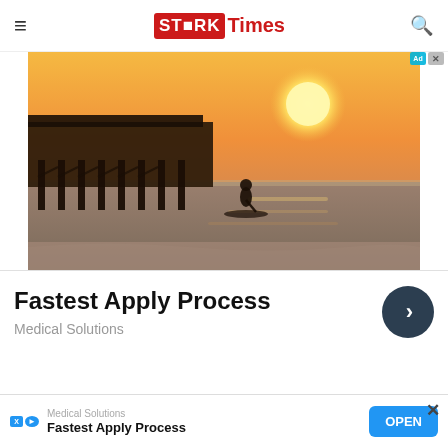STARK Times
[Figure (photo): Sunset beach scene with pier silhouette on the left and a person standing on a paddleboard in shallow water, golden/orange sky]
Fastest Apply Process
Medical Solutions
Medical Solutions
Fastest Apply Process
OPEN